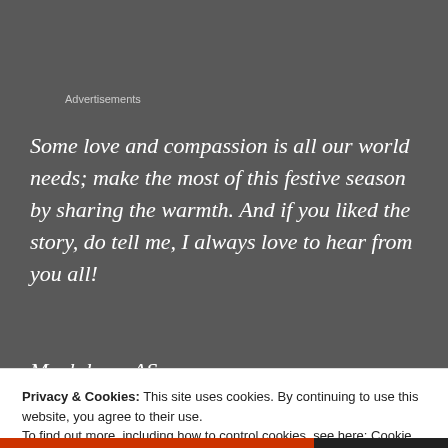Advertisements
Some love and compassion is all our world needs; make the most of this festive season by sharing the warmth. And if you liked the story, do tell me, I always love to hear from you all!
Much love, AS
Privacy & Cookies: This site uses cookies. By continuing to use this website, you agree to their use.
To find out more, including how to control cookies, see here: Cookie Policy
Close and accept